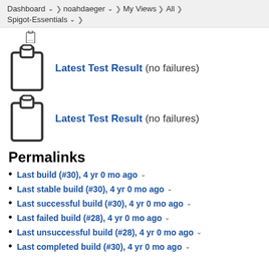Dashboard > noahdaeger > My Views > All > Spigot-Essentials
[Figure (illustration): Clipboard icon (partial, top visible)]
Latest Test Result (no failures)
[Figure (illustration): Clipboard icon (full)]
Latest Test Result (no failures)
Permalinks
Last build (#30), 4 yr 0 mo ago
Last stable build (#30), 4 yr 0 mo ago
Last successful build (#30), 4 yr 0 mo ago
Last failed build (#28), 4 yr 0 mo ago
Last unsuccessful build (#28), 4 yr 0 mo ago
Last completed build (#30), 4 yr 0 mo ago